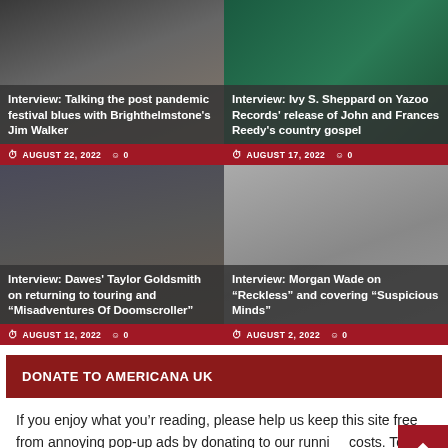[Figure (photo): Interview article card: Talking the post pandemic festival blues with Brighthelmstone's Jim Walker, August 22 2022]
[Figure (photo): Interview article card: Ivy S. Sheppard on Yazoo Records release of John and Frances Reedy's country gospel, August 17 2022]
[Figure (photo): Interview article card: Dawes' Taylor Goldsmith on returning to touring and Misadventures Of Doomscroller, August 12 2022]
[Figure (photo): Interview article card: Morgan Wade on Reckless and covering Suspicious Minds, August 2 2022]
DONATE TO AMERICANA UK
If you enjoy what you'r reading, please help us keep this site free from annoying pop-up ads by donating to our running costs. To paraphrase Dolly, we will always love you (and be hugely grateful).